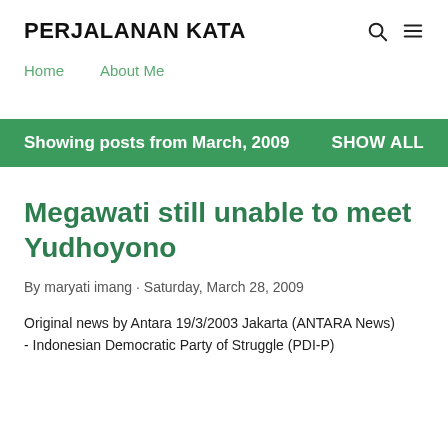PERJALANAN KATA
Home   About Me
Showing posts from March, 2009   SHOW ALL
Megawati still unable to meet Yudhoyono
By maryati imang · Saturday, March 28, 2009
Original news by Antara 19/3/2003 Jakarta (ANTARA News) - Indonesian Democratic Party of Struggle (PDI-P)